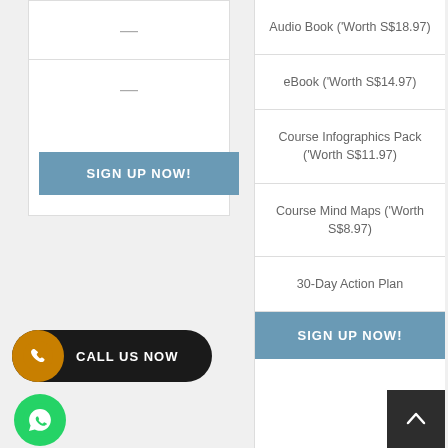—
—
SIGN UP NOW!
Audio Book (*Worth S$18.97)
eBook (*Worth S$14.97)
Course Infographics Pack (*Worth S$11.97)
Course Mind Maps (*Worth S$8.97)
30-Day Action Plan
SIGN UP NOW!
CALL US NOW